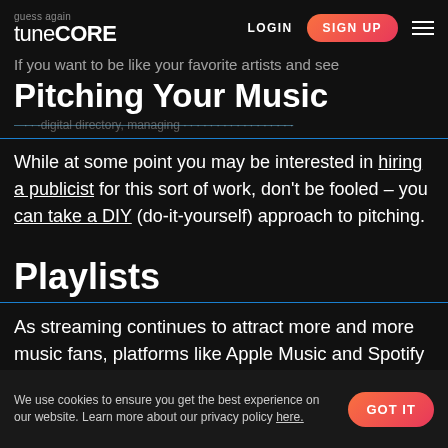guess again
tuneCORE | LOGIN | SIGN UP
If you want to be like your favorite artists and see
Pitching Your Music
While at some point you may be interested in hiring a publicist for this sort of work, don't be fooled – you can take a DIY (do-it-yourself) approach to pitching.
Playlists
As streaming continues to attract more and more music fans, platforms like Apple Music and Spotify have found ways to offer these fans curated
We use cookies to ensure you get the best experience on our website. Learn more about our privacy policy here. GOT IT